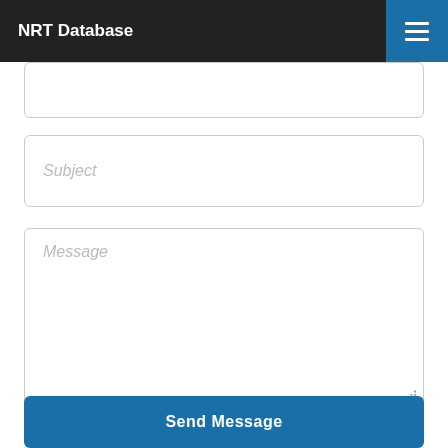NRT Database
Subject
Message
Send Message